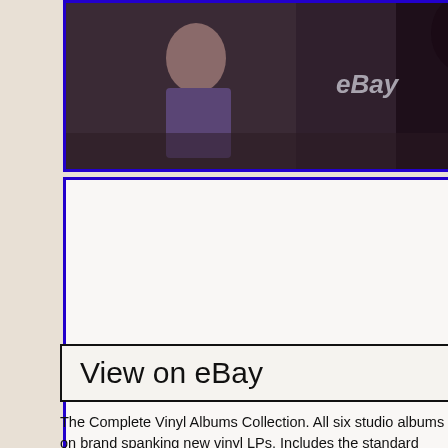[Figure (photo): A photo of people, appears to be a concert or studio scene, with an eBay watermark overlay]
[Figure (photo): An album cover with white/off-white background with text 'SUCK IT AND SEE' and an eBay watermark]
View on eBay
The Complete Vinyl Albums Collection. All six studio albums on brand spanking new vinyl LPs. Includes the standard black vinyl pressing of the brilliant new album